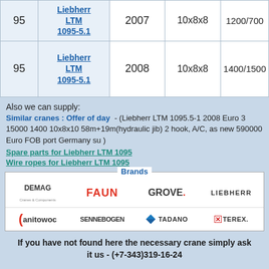|  | Model | Year | Axles | Capacity |
| --- | --- | --- | --- | --- |
| 95 | Liebherr LTM 1095-5.1 | 2007 | 10x8x8 | 1200/700 |
| 95 | Liebherr LTM 1095-5.1 | 2008 | 10x8x8 | 1400/1500 |
Also we can supply:
Similar cranes : Offer of day  - (Liebherr LTM 1095.5-1 2008 Euro 3 15000 1400 10x8x10 58m+19m(hydraulic jib) 2 hook, A/C, as new 590000 Euro FOB port Germany su )
Spare parts for Liebherr LTM 1095
Wire ropes for Liebherr LTM 1095
[Figure (logo): Brands section with logos: DEMAG, FAUN, GROVE, LIEBHERR, Manitowoc, SENNEBOGEN, TADANO, TEREX]
If you have not found here the necessary crane simply ask it us - (+7-343)319-16-24